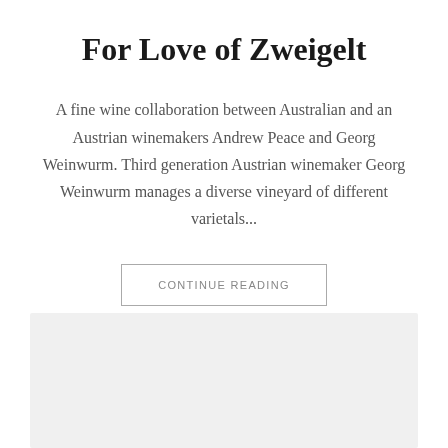For Love of Zweigelt
A fine wine collaboration between Australian and an Austrian winemakers Andrew Peace and Georg Weinwurm. Third generation Austrian winemaker Georg Weinwurm manages a diverse vineyard of different varietals...
CONTINUE READING
[Figure (photo): Light grey placeholder image at the bottom of the page]